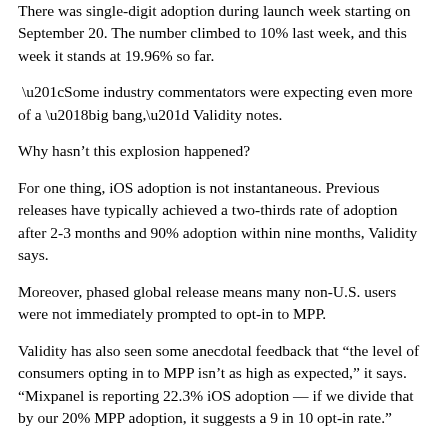There was single-digit adoption during launch week starting on September 20. The number climbed to 10% last week, and this week it stands at 19.96% so far.
“Some industry commentators were expecting even more of a ‘big bang,” Validity notes.
Why hasn’t this explosion happened?
For one thing, iOS adoption is not instantaneous. Previous releases have typically achieved a two-thirds rate of adoption after 2-3 months and 90% adoption within nine months, Validity says.
Moreover, phased global release means many non-U.S. users were not immediately prompted to opt-in to MPP.
Validity has also seen some anecdotal feedback that “the level of consumers opting in to MPP isn’t as high as expected,” it says. “Mixpanel is reporting 22.3% iOS adoption — if we divide that by our 20% MPP adoption, it suggests a 9 in 10 opt-in rate.”